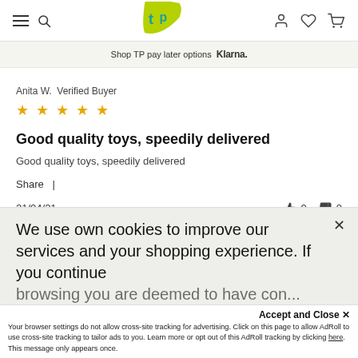Shop TP pay later options Klarna.
Anita W. Verified Buyer
★★★★★
Good quality toys, speedily delivered
Good quality toys, speedily delivered
Share  |
21/04/21  👍 0  👎 0
We use own cookies to improve our services and your shopping experience. If you continue browsing you are deemed to have con...
Accept and Close ✕
Your browser settings do not allow cross-site tracking for advertising. Click on this page to allow AdRoll to use cross-site tracking to tailor ads to you. Learn more or opt out of this AdRoll tracking by clicking here. This message only appears once.